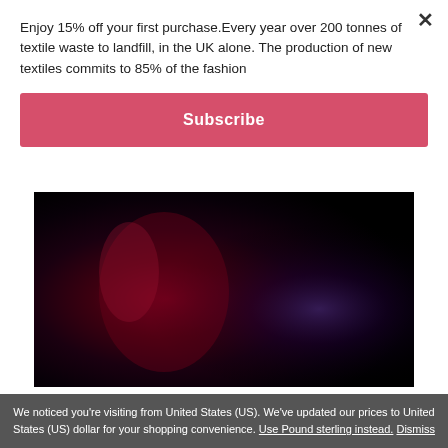Enjoy 15% off your first purchase.Every year over 200 tonnes of textile waste to landfill, in the UK alone. The production of new textiles commits to 85% of the fashion
Subscribe
[Figure (photo): Dark close-up photo of a purple/red dress fabric against a black background — The Rachel Dress (M) Purple]
The Rachel Dress (M) Purple
We noticed you're visiting from United States (US). We've updated our prices to United States (US) dollar for your shopping convenience. Use Pound sterling instead. Dismiss